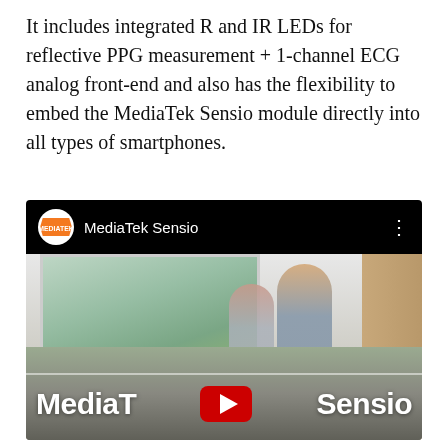It includes integrated R and IR LEDs for reflective PPG measurement + 1-channel ECG analog front-end and also has the flexibility to embed the MediaTek Sensio module directly into all types of smartphones.
[Figure (screenshot): YouTube video thumbnail showing MediaTek Sensio channel. Black header bar with MediaTek logo circle and 'MediaTek Sensio' channel name. Video frame shows two people in a kitchen/home setting. Lower portion has 'MediaTek Sensio' text overlay with YouTube play button in center.]